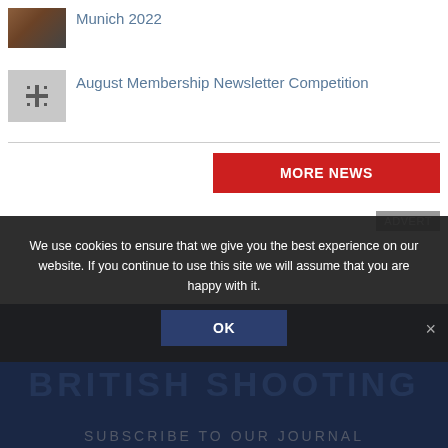[Figure (photo): Thumbnail image for Munich 2022 article, partially visible at top]
Munich 2022
[Figure (logo): Gray thumbnail with cross/crest icon for August Membership Newsletter Competition]
August Membership Newsletter Competition
[Figure (other): Red MORE NEWS button]
ADVERT
[Figure (other): Dark navy footer area with faint large text]
We use cookies to ensure that we give you the best experience on our website. If you continue to use this site we will assume that you are happy with it.
OK